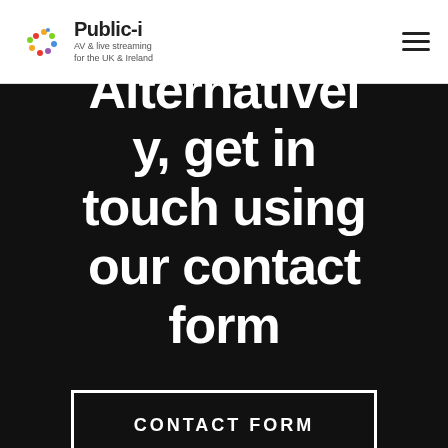Public-i | AV & live streaming for the UK & Ireland
Alternatively, get in touch using our contact form
CONTACT FORM